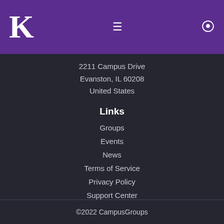K ≡ →
2211 Campus Drive
Evanston, IL 60208
United States
Links
Groups
Events
News
Terms of Service
Privacy Policy
Support Center
©2022 CampusGroups